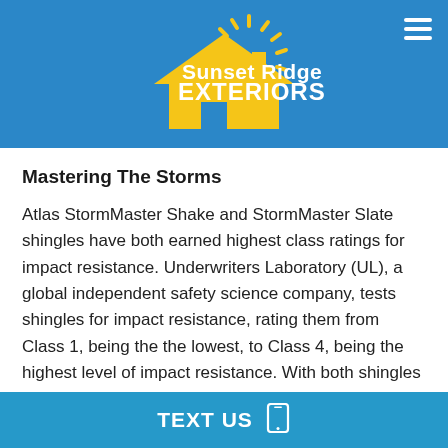Sunset Ridge EXTERIORS
Mastering The Storms
Atlas StormMaster Shake and StormMaster Slate shingles have both earned highest class ratings for impact resistance. Underwriters Laboratory (UL), a global independent safety science company, tests shingles for impact resistance, rating them from Class 1, being the the lowest, to Class 4, being the highest level of impact resistance. With both shingles earning Class 4 ratings, it justifies the performance and durability. These
TEXT US